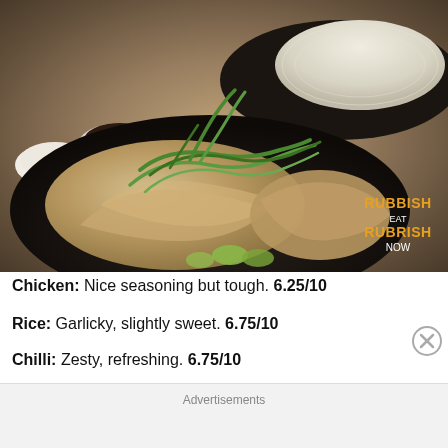[Figure (photo): Food photograph showing Hainanese chicken rice on a dark plate with green onions/scallions garnish, accompanied by dipping sauces and a plate of white rice in the background. Watermark reads RUBBISH EAT RUBBISH NOW.]
Chicken: Nice seasoning but tough. 6.25/10
Rice: Garlicky, slightly sweet. 6.75/10
Chilli: Zesty, refreshing. 6.75/10
Advertisements